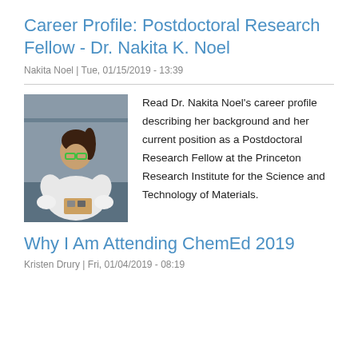Career Profile: Postdoctoral Research Fellow - Dr. Nakita K. Noel
Nakita Noel | Tue, 01/15/2019 - 13:39
[Figure (photo): Photo of Dr. Nakita Noel in a lab coat and safety glasses, working with materials on a lab bench.]
Read Dr. Nakita Noel's career profile describing her background and her current position as a Postdoctoral Research Fellow at the Princeton Research Institute for the Science and Technology of Materials.
Why I Am Attending ChemEd 2019
Kristen Drury | Fri, 01/04/2019 - 08:19